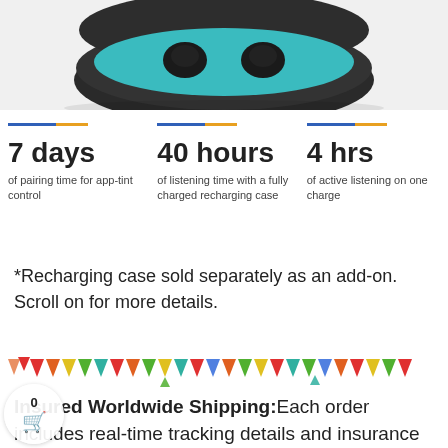[Figure (photo): Product photo of wireless earbuds in a teal and black charging case, viewed from above at an angle, on white background]
7 days of pairing time for app-tint control
40 hours of listening time with a fully charged recharging case
4 hrs of active listening on one charge
*Recharging case sold separately as an add-on. Scroll on for more details.
[Figure (illustration): Colorful triangular bunting/pennant banner decoration in red, orange, yellow, green, teal, and blue colors]
Insured Worldwide Shipping: Each order includes real-time tracking details and insurance coverage in the unlikely event that a package gets lost or stolen in transit.